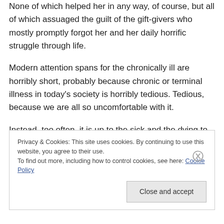None of which helped her in any way, of course, but all of which assuaged the guilt of the gift-givers who mostly promptly forgot her and her daily horrific struggle through life.
Modern attention spans for the chronically ill are horribly short, probably because chronic or terminal illness in today's society is horribly tedious. Tedious, because we are all so uncomfortable with it.
Instead, too often, it is up to the sick and the dying to comfort the well and the un-dying.
Privacy & Cookies: This site uses cookies. By continuing to use this website, you agree to their use.
To find out more, including how to control cookies, see here: Cookie Policy